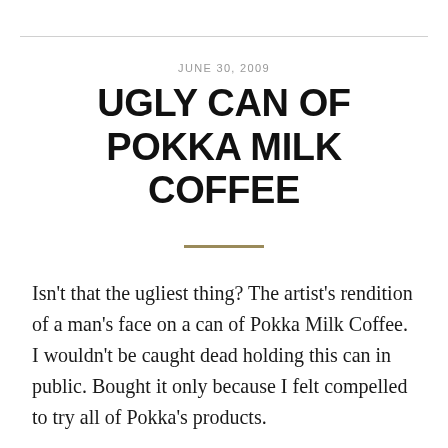JUNE 30, 2009
UGLY CAN OF POKKA MILK COFFEE
Isn't that the ugliest thing? The artist's rendition of a man's face on a can of Pokka Milk Coffee. I wouldn't be caught dead holding this can in public. Bought it only because I felt compelled to try all of Pokka's products.